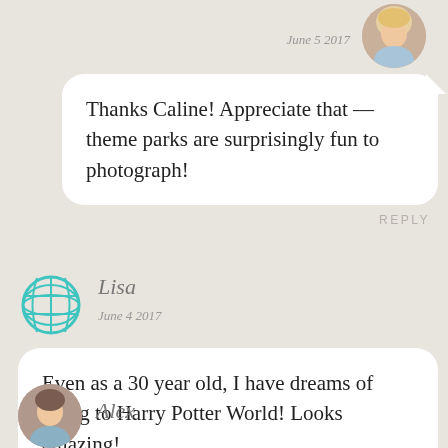June 5 2017
Thanks Caline! Appreciate that — theme parks are surprisingly fun to photograph!
REPLY
Lisa
June 4 2017
Even as a 30 year old, I have dreams of going to Harry Potter World! Looks amazing!
REPLY
Alex